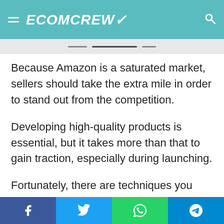ECOMCREW
Because Amazon is a saturated market, sellers should take the extra mile in order to stand out from the competition.
Developing high-quality products is essential, but it takes more than that to gain traction, especially during launching.
Fortunately, there are techniques you can use to attract even first-time customers.